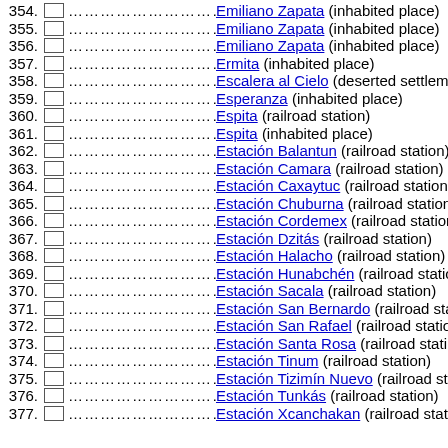354. Emiliano Zapata (inhabited place)
355. Emiliano Zapata (inhabited place)
356. Emiliano Zapata (inhabited place)
357. Ermita (inhabited place)
358. Escalera al Cielo (deserted settlement)
359. Esperanza (inhabited place)
360. Espita (railroad station)
361. Espita (inhabited place)
362. Estación Balantun (railroad station)
363. Estación Camara (railroad station)
364. Estación Caxaytuc (railroad station)
365. Estación Chuburna (railroad station)
366. Estación Cordemex (railroad station)
367. Estación Dzitás (railroad station)
368. Estación Halacho (railroad station)
369. Estación Hunabchén (railroad station)
370. Estación Sacala (railroad station)
371. Estación San Bernardo (railroad station)
372. Estación San Rafael (railroad station)
373. Estación Santa Rosa (railroad station)
374. Estación Tinum (railroad station)
375. Estación Tizimín Nuevo (railroad station)
376. Estación Tunkás (railroad station)
377. Estación Xcanchakan (railroad station)